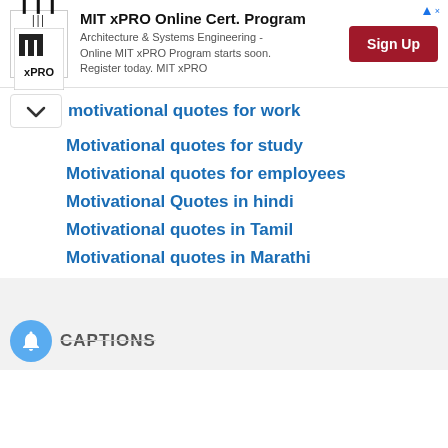[Figure (other): MIT xPRO Online Cert. Program advertisement banner with logo, description text, and Sign Up button]
motivational quotes for work
Motivational quotes for study
Motivational quotes for employees
Motivational Quotes in hindi
Motivational quotes in Tamil
Motivational quotes in Marathi